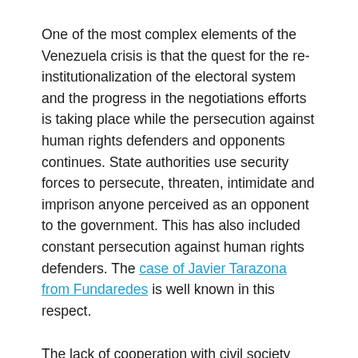One of the most complex elements of the Venezuela crisis is that the quest for the re-institutionalization of the electoral system and the progress in the negotiations efforts is taking place while the persecution against human rights defenders and opponents continues. State authorities use security forces to persecute, threaten, intimidate and imprison anyone perceived as an opponent to the government. This has also included constant persecution against human rights defenders. The case of Javier Tarazona from Fundaredes is well known in this respect.
The lack of cooperation with civil society and the policy of persecution was a common concern amongst examining states during the UPR